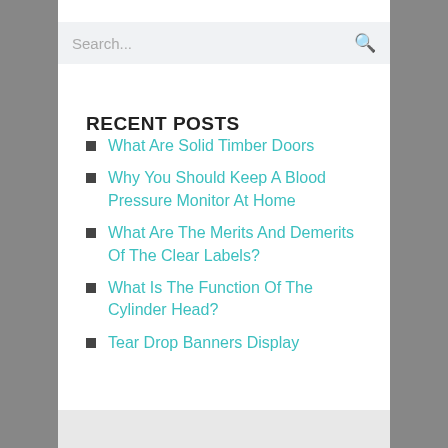Search...
RECENT POSTS
What Are Solid Timber Doors
Why You Should Keep A Blood Pressure Monitor At Home
What Are The Merits And Demerits Of The Clear Labels?
What Is The Function Of The Cylinder Head?
Tear Drop Banners Display